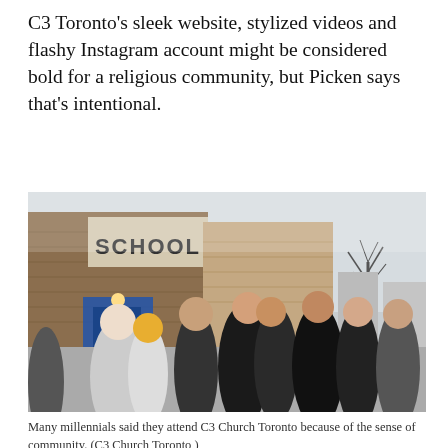C3 Toronto's sleek website, stylized videos and flashy Instagram account might be considered bold for a religious community, but Picken says that's intentional.
[Figure (photo): A group of young people gathered outside a brick school building, with two women hugging and smiling in the center, others standing around them on a winter day.]
Many millennials said they attend C3 Church Toronto because of the sense of community. (C3 Church Toronto )